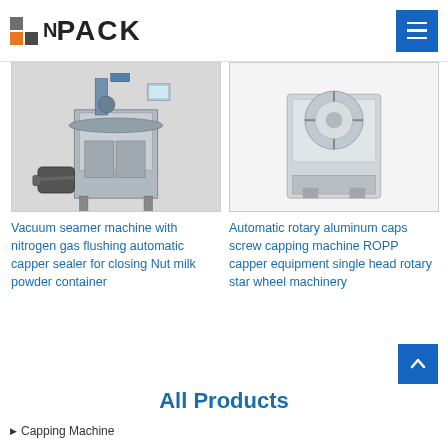[Figure (logo): NPack logo with colored grid squares and bold text]
[Figure (photo): Vacuum seamer machine with nitrogen gas flushing automatic capper sealer - industrial equipment photo]
[Figure (photo): Automatic rotary aluminum caps screw capping machine ROPP - white background product image]
Vacuum seamer machine with nitrogen gas flushing automatic capper sealer for closing Nut milk powder container
Automatic rotary aluminum caps screw capping machine ROPP capper equipment single head rotary star wheel machinery
All Products
Capping Machine